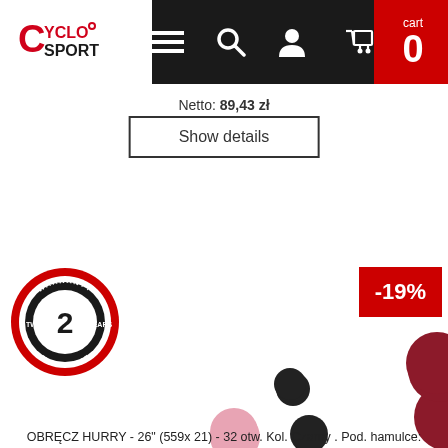CycloSport navigation bar with logo, menu, search, account, cart icons, cart count 0
Netto: 89,43 zł
Show details
[Figure (logo): Two Years Warranty CycloSport circular badge]
-19%
[Figure (illustration): Color swatch circles: dark crimson, black, mauve/grey-purple, pink, large red, large dark-mauve, grey, medium crimson]
OBRĘCZ HURRY - 26" (559x 21) - 32 otw. Kol. Czarny . Pod. hamulce: